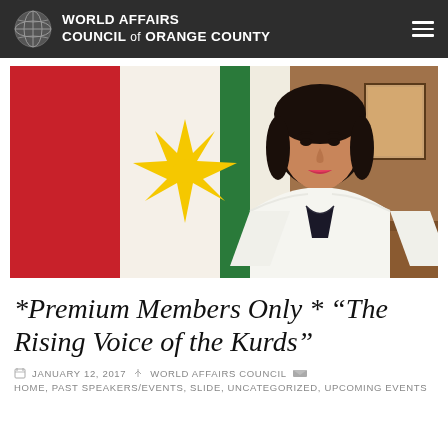WORLD AFFAIRS COUNCIL of ORANGE COUNTY
[Figure (photo): A woman in a white blazer seated in front of a large flag featuring red, white, and green stripes with a yellow star sunburst emblem — the Kurdistan Regional Government flag. She has dark hair and is smiling slightly, photographed in an official portrait setting.]
*Premium Members Only * “The Rising Voice of the Kurds”
JANUARY 12, 2017  WORLD AFFAIRS COUNCIL  HOME, PAST SPEAKERS/EVENTS, SLIDE, UNCATEGORIZED, UPCOMING EVENTS